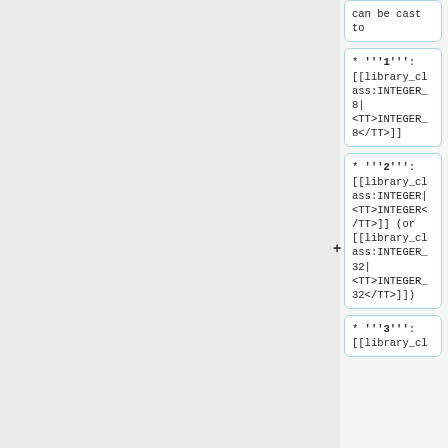can be cast to
* '''1''': [[library_class:INTEGER_8|<TT>INTEGER_8</TT>]]
* '''2''': [[library_class:INTEGER|<TT>INTEGER</TT>]] (or [[library_class:INTEGER_32|<TT>INTEGER_32</TT>]])
* '''3''': [[library_cl